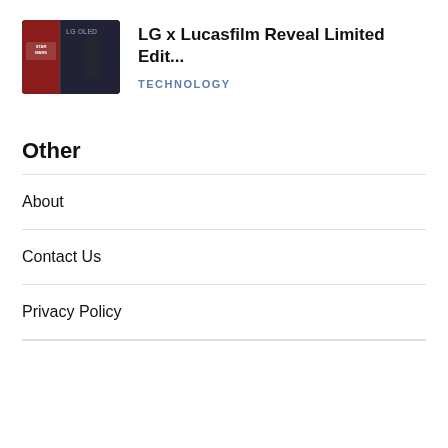[Figure (photo): Thumbnail image of LG x Lucasfilm Star Wars limited edition product box featuring Darth Vader]
LG x Lucasfilm Reveal Limited Edit...
TECHNOLOGY
Other
About
Contact Us
Privacy Policy